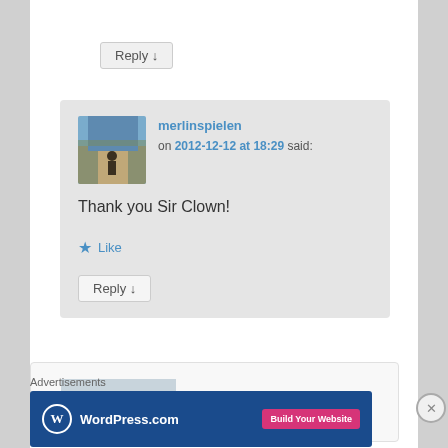Reply ↓
merlinspielen on 2012-12-12 at 18:29 said:
Thank you Sir Clown!
★ Like
Reply ↓
Advertisements
[Figure (screenshot): WordPress.com advertisement banner with logo and 'Build Your Website' button]
[Figure (photo): Partially visible comment with small landscape photo thumbnail]